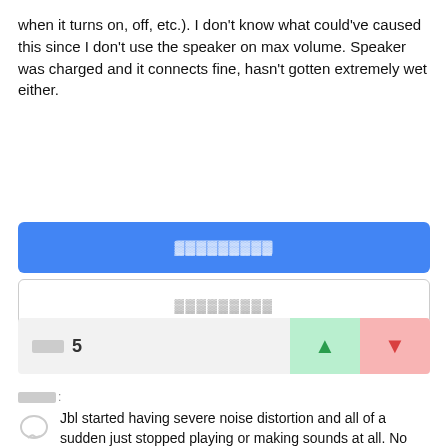when it turns on, off, etc.). I don't know what could've caused this since I don't use the speaker on max volume. Speaker was charged and it connects fine, hasn't gotten extremely wet either.
[Figure (screenshot): Blue filled button with redacted/obfuscated text label]
[Figure (screenshot): Outlined white button with redacted/obfuscated text label]
[Figure (screenshot): Vote row showing score of 5 with green upvote and red downvote buttons]
Answers label with redacted text
Jbl started having severe noise distortion and all of a sudden just stopped playing or making sounds at all. No power up or power down sound even though it